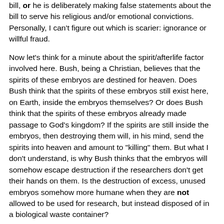bill, or he is deliberately making false statements about the bill to serve his religious and/or emotional convictions. Personally, I can't figure out which is scarier: ignorance or willful fraud.
Now let's think for a minute about the spirit/afterlife factor involved here. Bush, being a Christian, believes that the spirits of these embryos are destined for heaven. Does Bush think that the spirits of these embryos still exist here, on Earth, inside the embryos themselves? Or does Bush think that the spirits of these embryos already made passage to God's kingdom? If the spirits are still inside the embryos, then destroying them will, in his mind, send the spirits into heaven and amount to "killing" them. But what I don't understand, is why Bush thinks that the embryos will somehow escape destruction if the researchers don't get their hands on them. Is the destruction of excess, unused embryos somehow more humane when they are not allowed to be used for research, but instead disposed of in a biological waste container?
And another factor comes into mind here: the legal factor. If